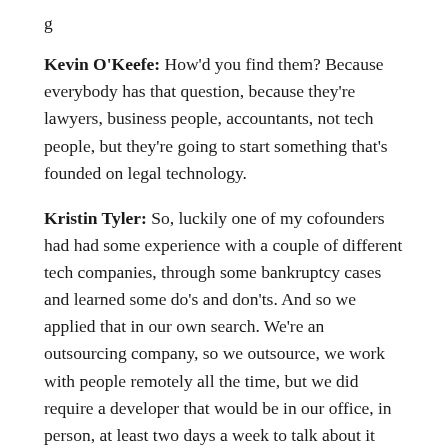g
Kevin O'Keefe: How'd you find them? Because everybody has that question, because they're lawyers, business people, accountants, not tech people, but they're going to start something that's founded on legal technology.
Kristin Tyler: So, luckily one of my cofounders had had some experience with a couple of different tech companies, through some bankruptcy cases and learned some do's and don'ts. And so we applied that in our own search. We're an outsourcing company, so we outsource, we work with people remotely all the time, but we did require a developer that would be in our office, in person, at least two days a week to talk about it and monitor the build process. That